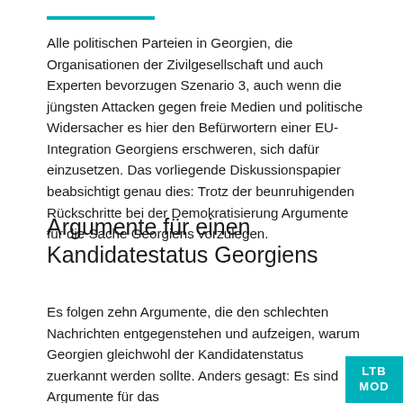Alle politischen Parteien in Georgien, die Organisationen der Zivilgesellschaft und auch Experten bevorzugen Szenario 3, auch wenn die jüngsten Attacken gegen freie Medien und politische Widersacher es hier den Befürwortern einer EU-Integration Georgiens erschweren, sich dafür einzusetzen. Das vorliegende Diskussionspapier beabsichtigt genau dies: Trotz der beunruhigenden Rückschritte bei der Demokratisierung Argumente für die Sache Georgiens vorzulegen.
Argumente für einen Kandidatenstatus Georgiens
Es folgen zehn Argumente, die den schlechten Nachrichten entgegenstehen und aufzeigen, warum Georgien gleichwohl der Kandidatenstatus zuerkannt werden sollte. Anders gesagt: Es sind Argumente für das